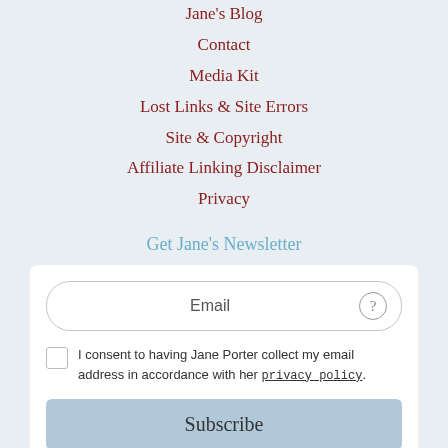Jane's Blog
Contact
Media Kit
Lost Links & Site Errors
Site & Copyright
Affiliate Linking Disclaimer
Privacy
Get Jane's Newsletter
Email
I consent to having Jane Porter collect my email address in accordance with her privacy policy.
Subscribe